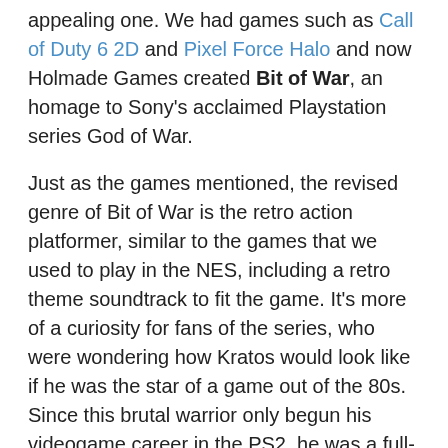appealing one. We had games such as Call of Duty 6 2D and Pixel Force Halo and now Holmade Games created Bit of War, an homage to Sony's acclaimed Playstation series God of War.
Just as the games mentioned, the revised genre of Bit of War is the retro action platformer, similar to the games that we used to play in the NES, including a retro theme soundtrack to fit the game. It's more of a curiosity for fans of the series, who were wondering how Kratos would look like if he was the star of a game out of the 80s. Since this brutal warrior only begun his videogame career in the PS2, he was a full-blown character from day one. With the details scaled back – way back – the Kratos from Bit of War is more of a chibi version of the god we used to know, one that didn't forget to bring his blades of chaos with his tiny self.
As far as gameplay goes it's standard platform fare but one that is imminently playable. There's some genuine interest in finding out what kind of settings chibi Kratos will have to explore and what new enemies he will face, including some bosses that may take some time to defeat until we learn their